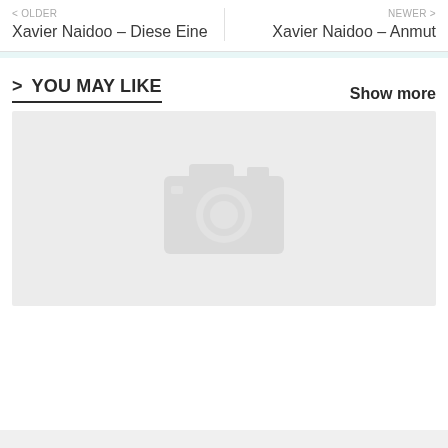< OLDER
Xavier Naidoo – Diese Eine
NEWER >
Xavier Naidoo – Anmut
> YOU MAY LIKE
Show more
[Figure (photo): Gray placeholder image with a camera icon in the center]